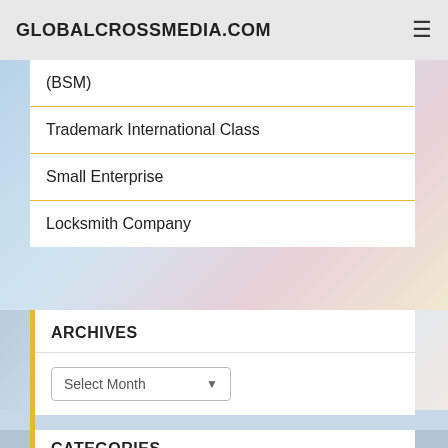GLOBALCROSSMEDIA.COM
(BSM)
Trademark International Class
Small Enterprise
Locksmith Company
ARCHIVES
Select Month
CATEGORIES